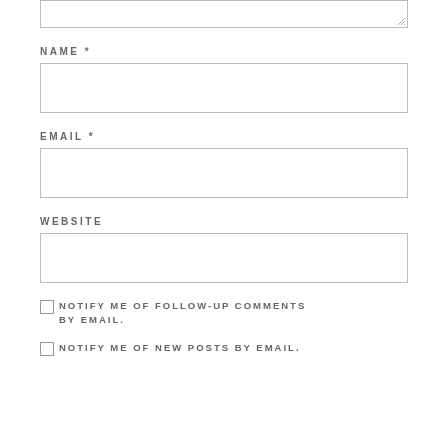[Figure (screenshot): Top portion of a web comment form showing a textarea with resize handle at the top of the page]
NAME *
[Figure (screenshot): Empty text input field for Name]
EMAIL *
[Figure (screenshot): Empty text input field for Email]
WEBSITE
[Figure (screenshot): Empty text input field for Website]
NOTIFY ME OF FOLLOW-UP COMMENTS BY EMAIL.
NOTIFY ME OF NEW POSTS BY EMAIL.